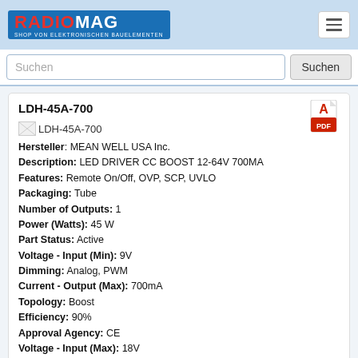RADIOMAG – SHOP VON ELEKTRONISCHEN BAUELEMENTEN
Suchen
LDH-45A-700
[Figure (other): PDF icon (red and white Adobe PDF logo)]
[Figure (other): Product image placeholder for LDH-45A-700]
Hersteller: MEAN WELL USA Inc.
Description: LED DRIVER CC BOOST 12-64V 700MA
Features: Remote On/Off, OVP, SCP, UVLO
Packaging: Tube
Number of Outputs: 1
Power (Watts): 45 W
Part Status: Active
Voltage - Input (Min): 9V
Dimming: Analog, PWM
Current - Output (Max): 700mA
Topology: Boost
Efficiency: 90%
Approval Agency: CE
Voltage - Input (Max): 18V
Operating Temperature: -40°C ~ 70°C
Type: Constant Current
Mounting Type: Through Hole
Voltage - Output: 12 ~ 64V
Size / Dimension: 2.95" L x 2.09" W x 0.89" H